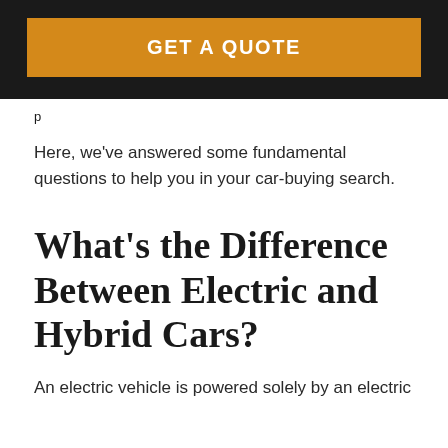GET A QUOTE
p
Here, we've answered some fundamental questions to help you in your car-buying search.
What's the Difference Between Electric and Hybrid Cars?
An electric vehicle is powered solely by an electric